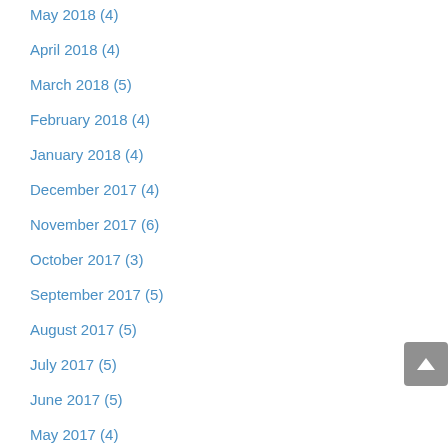May 2018 (4)
April 2018 (4)
March 2018 (5)
February 2018 (4)
January 2018 (4)
December 2017 (4)
November 2017 (6)
October 2017 (3)
September 2017 (5)
August 2017 (5)
July 2017 (5)
June 2017 (5)
May 2017 (4)
April 2017 (4)